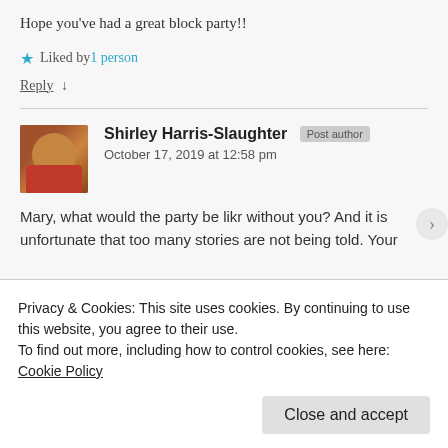Hope you've had a great block party!!
★ Liked by 1 person
Reply ↓
Shirley Harris-Slaughter Post author
October 17, 2019 at 12:58 pm
Mary, what would the party be likr without you? And it is unfortunate that too many stories are not being told. Your
Privacy & Cookies: This site uses cookies. By continuing to use this website, you agree to their use.
To find out more, including how to control cookies, see here: Cookie Policy
Close and accept